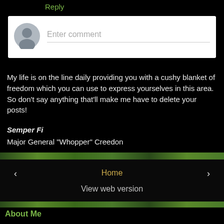Reply
[Figure (other): Comment input box with avatar placeholder and 'Enter comment' placeholder text]
My life is on the line daily providing you with a cushy blanket of freedom which you can use to express yourselves in this area.
So don't say anything that'll make me have to delete your posts!
Semper Fi
Major General "Whopper" Creedon
Home
View web version
About Me